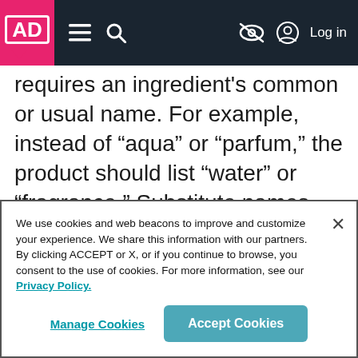AD [logo] navigation bar with menu, search, audio description toggle, and Log in
requires an ingredient's common or usual name. For example, instead of “aqua” or “parfum,” the product should list “water” or “fragrance.” Substitute names can be listed in parentheses.¹ʷ²
We use cookies and web beacons to improve and customize your experience. We share this information with our partners. By clicking ACCEPT or X, or if you continue to browse, you consent to the use of cookies. For more information, see our Privacy Policy.
Manage Cookies
Accept Cookies